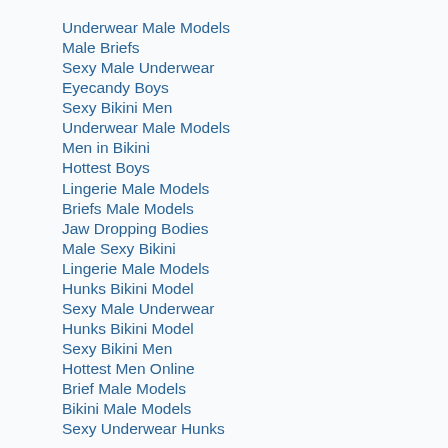Underwear Male Models
Male Briefs
Sexy Male Underwear
Eyecandy Boys
Sexy Bikini Men
Underwear Male Models
Men in Bikini
Hottest Boys
Lingerie Male Models
Briefs Male Models
Jaw Dropping Bodies
Male Sexy Bikini
Lingerie Male Models
Hunks Bikini Model
Sexy Male Underwear
Hunks Bikini Model
Sexy Bikini Men
Hottest Men Online
Brief Male Models
Bikini Male Models
Sexy Underwear Hunks